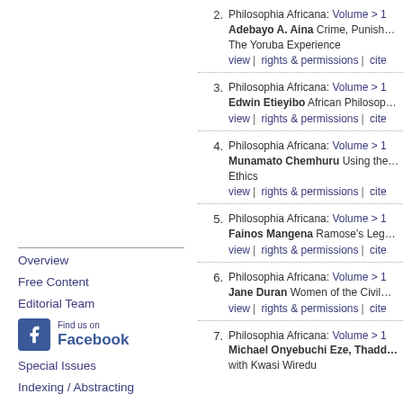2. Philosophia Africana: Volume > 1 | Adebayo A. Aina Crime, Punishment and The Yoruba Experience | view | rights & permissions | cite
3. Philosophia Africana: Volume > 1 | Edwin Etieyibo African Philosophy... | view | rights & permissions | cite
4. Philosophia Africana: Volume > 1 | Munamato Chemhuru Using the... Ethics | view | rights & permissions | cite
5. Philosophia Africana: Volume > 1 | Fainos Mangena Ramose's Leg... | view | rights & permissions | cite
6. Philosophia Africana: Volume > 1 | Jane Duran Women of the Civil... | view | rights & permissions | cite
7. Philosophia Africana: Volume > 1 | Michael Onyebuchi Eze, Thadd... with Kwasi Wiredu
Overview
Free Content
Editorial Team
[Figure (logo): Find us on Facebook logo with blue Facebook icon]
Special Issues
Indexing / Abstracting
Submission Guidelines
Rights & Permissions